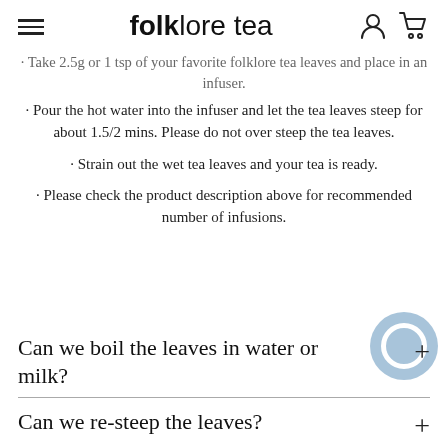folklore tea
· Take 2.5g or 1 tsp of your favorite folklore tea leaves and place in an infuser.
· Pour the hot water into the infuser and let the tea leaves steep for about 1.5/2 mins. Please do not over steep the tea leaves.
· Strain out the wet tea leaves and your tea is ready.
· Please check the product description above for recommended number of infusions.
Can we boil the leaves in water or milk?
Can we re-steep the leaves?